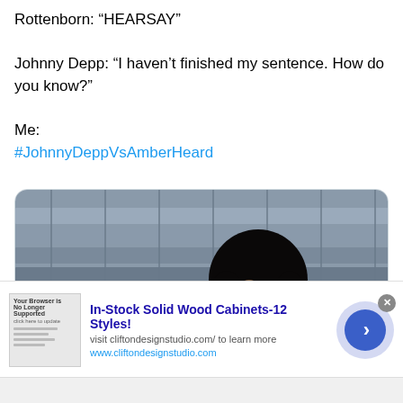Rottenborn: “HEARSAY”

Johnny Depp: “I haven’t finished my sentence. How do you know?”

Me:
#JohnnyDeppVsAmberHeard
[Figure (photo): A person with long curly dark hair laughing, sitting in front of bleachers/stadium seating. They appear to be eating something and wearing a dark jacket.]
In-Stock Solid Wood Cabinets-12 Styles!
visit cliftondesignstudio.com/ to learn more
www.cliftondesignstudio.com